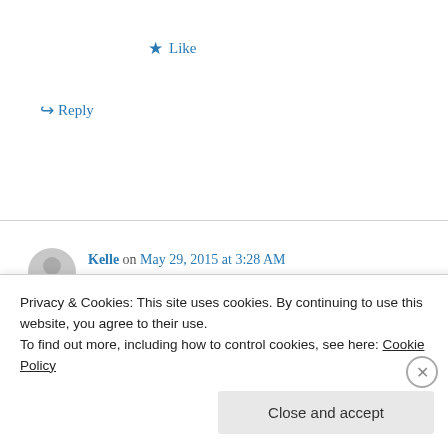★ Like
↪ Reply
Kelle on May 29, 2015 at 3:28 AM
Apporeciate this post. Let me trry it out.
★ Like
Privacy & Cookies: This site uses cookies. By continuing to use this website, you agree to their use.
To find out more, including how to control cookies, see here: Cookie Policy
Close and accept